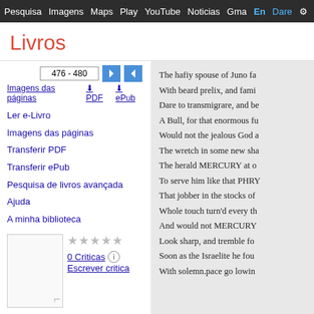Pesquisa Imagens Maps Play YouTube Noticias Gmail EnDare
Livros
476 - 480
Imagens das páginas  PDF  ePub
Ler e-Livro
Imagens das páginas
Transferir PDF
Transferir ePub
Pesquisa de livros avançada
Ajuda
A minha biblioteca
0 Criticas
Escrever critica
The Monthly Review, Or, Literary Journal, Volume 62
The hafiy spouse of Juno fa
With beard prelix, and fami
Dare to transmigrare, and be
A Bull, for that enormous fu
Would not the jealous God a
The wretch in some new sha
The herald MERCURY at o
To serve him like that PHRY
That jobber in the stocks of
Whole touch turn'd every th
And would not MERCURY
Look sharp, and tremble fo
Soon as the Israelite he fou
With solemn.pace go lowin